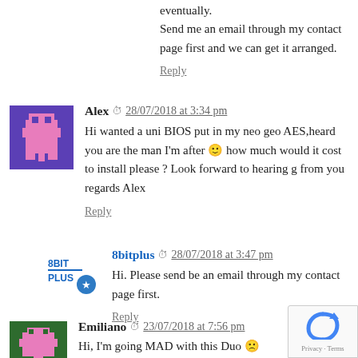eventually.
Send me an email through my contact page first and we can get it arranged.
Reply
Alex  28/07/2018 at 3:34 pm
Hi wanted a uni BIOS put in my neo geo AES,heard you are the man I'm after 🙂 how much would it cost to install please ? Look forward to hearing g from you regards Alex
Reply
8bitplus  28/07/2018 at 3:47 pm
Hi. Please send be an email through my contact page first.
Reply
Emiliano  23/07/2018 at 7:56 pm
Hi, I'm going MAD with this Duo 🙁